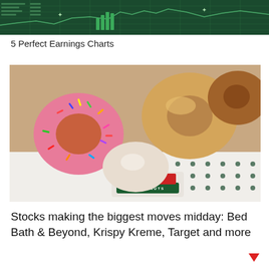[Figure (photo): Dark green background with decorative stock market/earnings chart graphic with stars]
5 Perfect Earnings Charts
[Figure (photo): Box of Krispy Kreme doughnuts including a pink sprinkled donut, glazed donuts, and powdered donuts, with the Krispy Kreme Doughnuts logo visible on the white box with green polka dots]
Stocks making the biggest moves midday: Bed Bath & Beyond, Krispy Kreme, Target and more